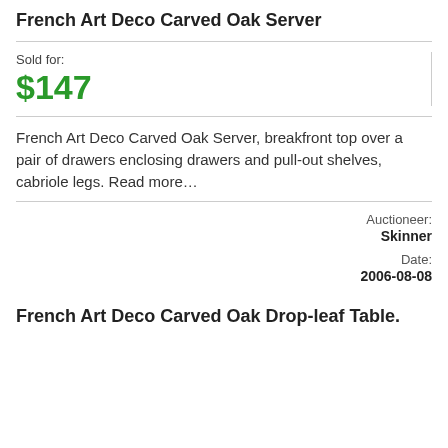French Art Deco Carved Oak Server
Sold for:
$147
French Art Deco Carved Oak Server, breakfront top over a pair of drawers enclosing drawers and pull-out shelves, cabriole legs. Read more…
Auctioneer: Skinner Date: 2006-08-08
French Art Deco Carved Oak Drop-leaf Table.